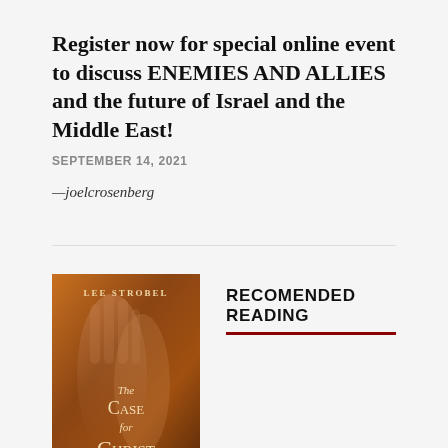Register now for special online event to discuss ENEMIES AND ALLIES and the future of Israel and the Middle East!
SEPTEMBER 14, 2021
—joelcrosenberg
RECOMENDED READING
[Figure (photo): Book cover of 'The Case for Christ' by Lee Strobel, featuring warm orange/brown tones with hands in background]